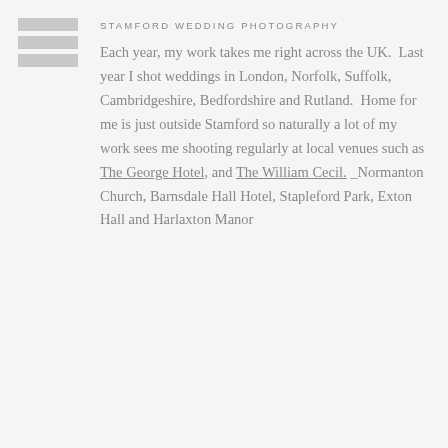[Figure (other): Hamburger menu icon made of three horizontal grey bars]
STAMFORD WEDDING PHOTOGRAPHY
Each year, my work takes me right across the UK.  Last year I shot weddings in London, Norfolk, Suffolk, Cambridgeshire, Bedfordshire and Rutland.  Home for me is just outside Stamford so naturally a lot of my work sees me shooting regularly at local venues such as The George Hotel, and The William Cecil. _Normanton Church, Barnsdale Hall Hotel, Stapleford Park, Exton Hall and Harlaxton Manor